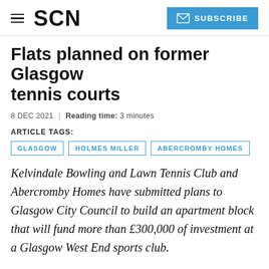SCN  SUBSCRIBE
Flats planned on former Glasgow tennis courts
8 DEC 2021  |  Reading time: 3 minutes
ARTICLE TAGS:
GLASGOW
HOLMES MILLER
ABERCROMBY HOMES
Kelvindale Bowling and Lawn Tennis Club and Abercromby Homes have submitted plans to Glasgow City Council to build an apartment block that will fund more than £300,000 of investment at a Glasgow West End sports club.